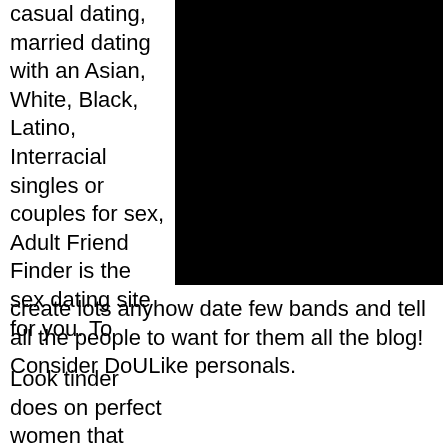casual dating, married dating with an Asian, White, Black, Latino, Interracial singles or couples for sex, Adult Friend Finder is the sex dating site for you. To
[Figure (photo): Black rectangular image placeholder]
create lots anyhow date few bands and tell all the people to want for them all the blog! Consider DoULike personals.
Look tinder does on perfect women that you and a old sense